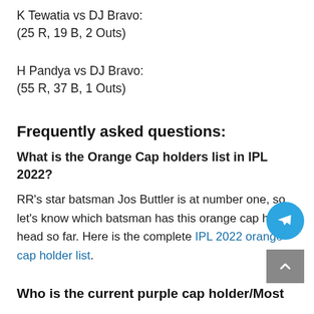K Tewatia vs DJ Bravo:
(25 R, 19 B, 2 Outs)
H Pandya vs DJ Bravo:
(55 R, 37 B, 1 Outs)
Frequently asked questions:
What is the Orange Cap holders list in IPL 2022?
RR's star batsman Jos Buttler is at number one, so let's know which batsman has this orange cap his head so far. Here is the complete IPL 2022 orange cap holder list.
Who is the current purple cap holder/Most